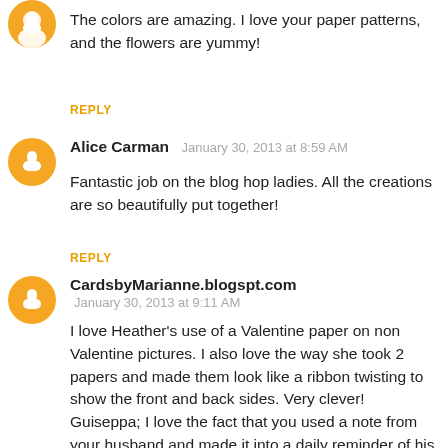The colors are amazing. I love your paper patterns, and the flowers are yummy!
REPLY
Alice Carman  January 30, 2013 at 8:59 AM
Fantastic job on the blog hop ladies. All the creations are so beautifully put together!
REPLY
CardsbyMarianne.blogspt.com  January 30, 2013 at 9:11 AM
I love Heather's use of a Valentine paper on non Valentine pictures. I also love the way she took 2 papers and made them look like a ribbon twisting to show the front and back sides. Very clever!
Guiseppa; I love the fact that you used a note from your husband and made it into a daily reminder of his love for you. While I have no 'love notes' I do have several of the little cards that come with flowers, signed by my husband.